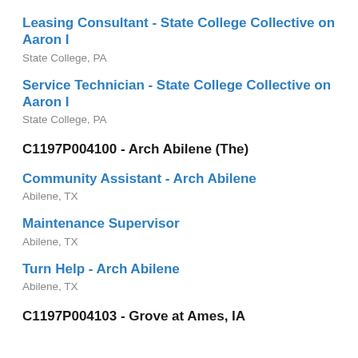Leasing Consultant - State College Collective on Aaron I
State College, PA
Service Technician - State College Collective on Aaron I
State College, PA
C1197P004100 - Arch Abilene (The)
Community Assistant - Arch Abilene
Abilene, TX
Maintenance Supervisor
Abilene, TX
Turn Help - Arch Abilene
Abilene, TX
C1197P004103 - Grove at Ames, IA